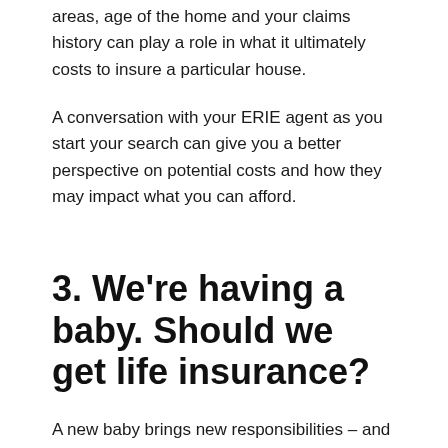areas, age of the home and your claims history can play a role in what it ultimately costs to insure a particular house.
A conversation with your ERIE agent as you start your search can give you a better perspective on potential costs and how they may impact what you can afford.
3. We're having a baby. Should we get life insurance?
A new baby brings new responsibilities – and new